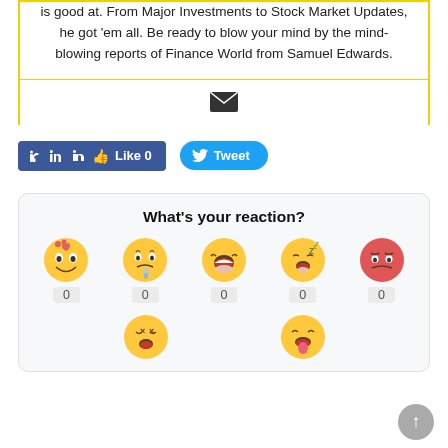is good at. From Major Investments to Stock Market Updates, he got 'em all. Be ready to blow your mind by the mind-blowing reports of Finance World from Samuel Edwards.
[Figure (other): Email envelope icon]
[Figure (other): Facebook Like button showing 'Like 0' and Twitter Tweet button]
What's your reaction?
[Figure (other): Row of five emoji reaction icons (love, sad, haha, sleepy, angry) each with count 0 below]
[Figure (other): Second row of emoji reaction icons (disgusted, tongue-out) partially visible]